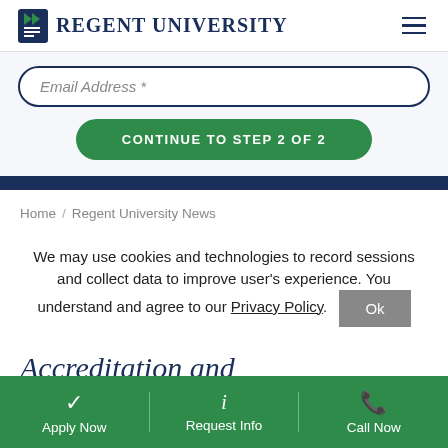Regent University
Email Address *
CONTINUE TO STEP 2 OF 2
Home / Regent University News
We may use cookies and technologies to record sessions and collect data to improve user's experience. You understand and agree to our Privacy Policy.
Accreditation and
Apply Now  Request Info  Call Now